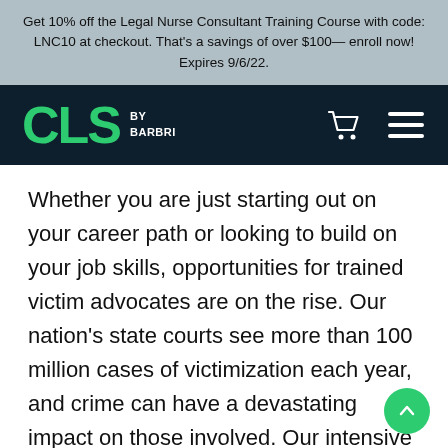Get 10% off the Legal Nurse Consultant Training Course with code: LNC10 at checkout. That's a savings of over $100— enroll now! Expires 9/6/22.
[Figure (logo): CLS by BARBRI logo in green on dark navy background, with shopping cart icon and hamburger menu icon on the right]
Whether you are just starting out on your career path or looking to build on your job skills, opportunities for trained victim advocates are on the rise. Our nation's state courts see more than 100 million cases of victimization each year, and crime can have a devastating impact on those involved. Our intensive Victim Advocacy Certificate Course is designed